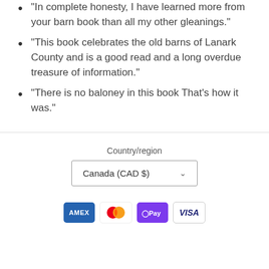“In complete honesty, I have learned more from your barn book than all my other gleanings.”
“This book celebrates the old barns of Lanark County and is a good read and a long overdue treasure of information.”
“There is no baloney in this book That’s how it was.”
Country/region
Canada (CAD $)
[Figure (other): Payment method icons: American Express (AMEX), Mastercard, G Pay (in purple), Visa]